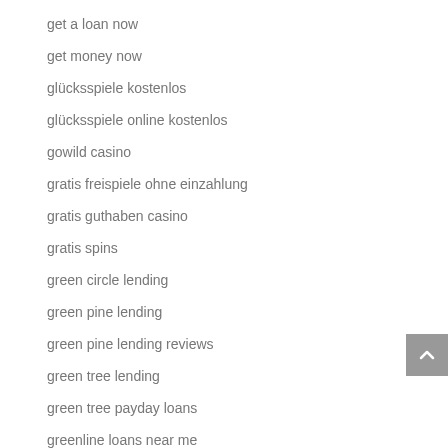get a loan now
get money now
glücksspiele kostenlos
glücksspiele online kostenlos
gowild casino
gratis freispiele ohne einzahlung
gratis guthaben casino
gratis spins
green circle lending
green pine lending
green pine lending reviews
green tree lending
green tree payday loans
greenline loans near me
gry hazardowe online